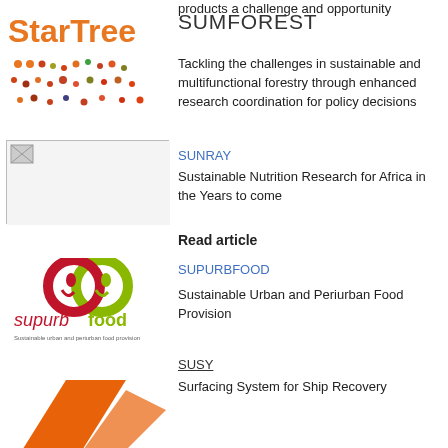[Figure (logo): StarTree project logo with orange text and colorful dots]
products a challenge and opportunity
SUMFOREST
Tackling the challenges in sustainable and multifunctional forestry through enhanced research coordination for policy decisions
SUNRAY
[Figure (photo): SUNRAY project image (broken/missing image placeholder)]
Sustainable Nutrition Research for Africa in the Years to come
Read article
[Figure (logo): Supurbfood project logo with red and green interlinked circles and text]
SUPURBFOOD
Sustainable Urban and Periurban Food Provision
SUSY
Surfacing System for Ship Recovery
[Figure (logo): SUSY project logo partially visible at page bottom]